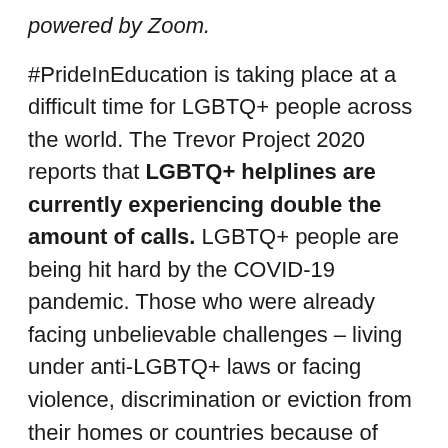powered by Zoom.
#PrideInEducation is taking place at a difficult time for LGBTQ+ people across the world. The Trevor Project 2020 reports that LGBTQ+ helplines are currently experiencing double the amount of calls. LGBTQ+ people are being hit hard by the COVID-19 pandemic. Those who were already facing unbelievable challenges – living under anti-LGBTQ+ laws or facing violence, discrimination or eviction from their homes or countries because of their sexuality or gender identity – are now struggling to survive. In